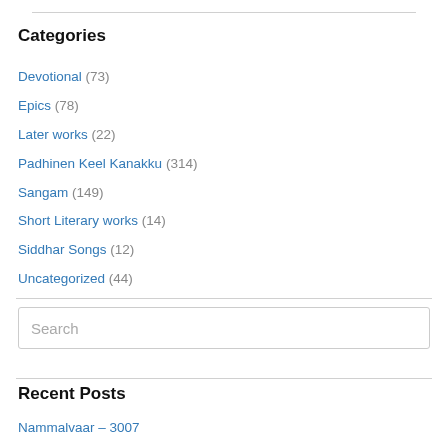Categories
Devotional (73)
Epics (78)
Later works (22)
Padhinen Keel Kanakku (314)
Sangam (149)
Short Literary works (14)
Siddhar Songs (12)
Uncategorized (44)
Search
Recent Posts
Nammalvaar – 3007